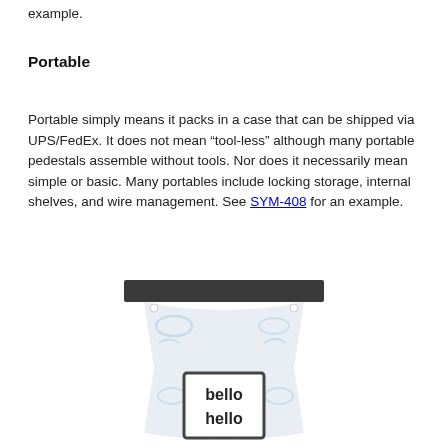example.
Portable
Portable simply means it packs in a case that can be shipped via UPS/FedEx. It does not mean “tool-less” although many portable pedestals assemble without tools. Nor does it necessarily mean simple or basic. Many portables include locking storage, internal shelves, and wire management. See SYM-408 for an example.
[Figure (photo): Photo of a portable pedestal/kiosk with a dark top surface and a white body decorated with light blue swirl graphics. A framed sign reading 'hello bello' is attached to the lower portion of the pedestal.]